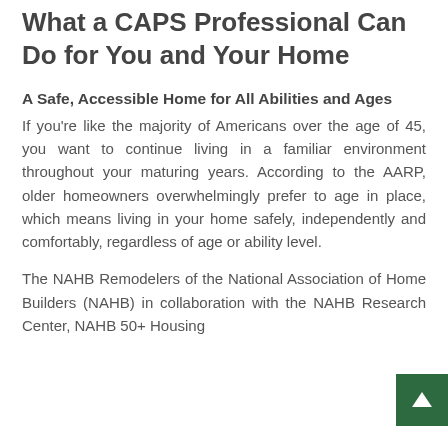What a CAPS Professional Can Do for You and Your Home
A Safe, Accessible Home for All Abilities and Ages
If you're like the majority of Americans over the age of 45, you want to continue living in a familiar environment throughout your maturing years. According to the AARP, older homeowners overwhelmingly prefer to age in place, which means living in your home safely, independently and comfortably, regardless of age or ability level.
The NAHB Remodelers of the National Association of Home Builders (NAHB) in collaboration with the NAHB Research Center, NAHB 50+ Housing